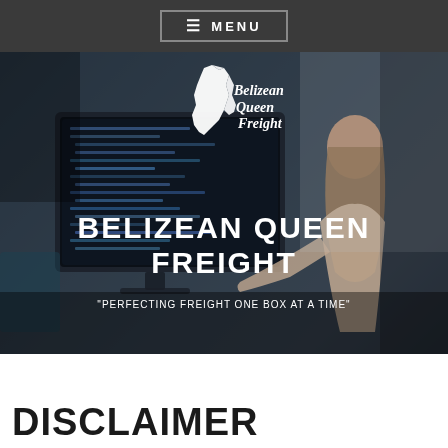≡ MENU
[Figure (photo): Hero image of a woman sitting at a desk with a computer monitor, dark blurred background, with Belizean Queen Freight logo overlay]
BELIZEAN QUEEN FREIGHT
"PERFECTING FREIGHT ONE BOX AT A TIME"
DISCLAIMER